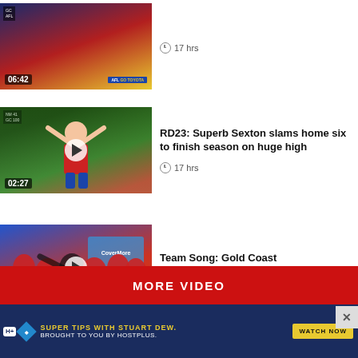[Figure (screenshot): Video thumbnail showing AFL match with time code 06:42]
17 hrs
[Figure (screenshot): Video thumbnail of player celebrating with arms raised, time code 02:27]
RD23: Superb Sexton slams home six to finish season on huge high
17 hrs
[Figure (screenshot): Video thumbnail showing Gold Coast team singing team song, time code 00:28]
Team Song: Gold Coast
17 hrs
MORE VIDEO
SUPER TIPS WITH STUART DEW. BROUGHT TO YOU BY HOSTPLUS.
WATCH NOW